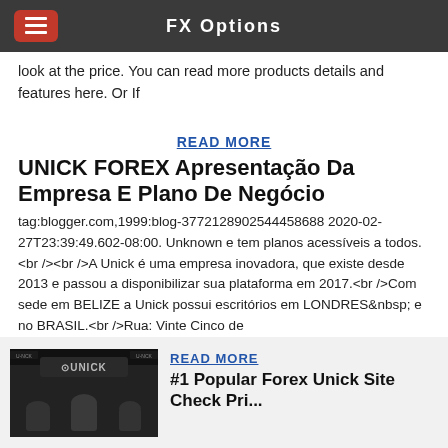FX Options
look at the price. You can read more products details and features here. Or If
READ MORE
UNICK FOREX Apresentação Da Empresa E Plano De Negócio
tag:blogger.com,1999:blog-3772128902544458688 2020-02-27T23:39:49.602-08:00. Unknown e tem planos acessíveis a todos. <br /><br />A Unick é uma empresa inovadora, que existe desde 2013 e passou a disponibilizar sua plataforma em 2017.<br />Com sede em BELIZE a Unick possui escritórios em LONDRES&nbsp; e no BRASIL.<br />Rua: Vinte Cinco de
[Figure (photo): Photo showing UNICK branding event or presentation with people and UNICK logo banners in background]
READ MORE
#1 Popular Forex Unick Site Check Pri...